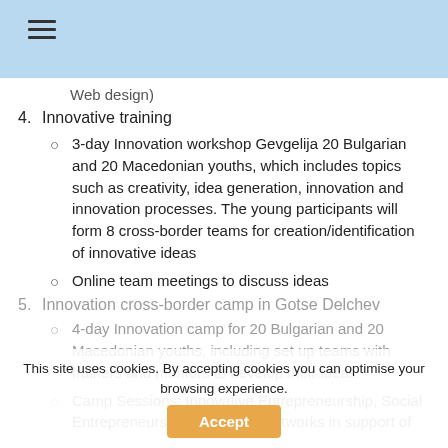Web design)
4. Innovative training
3-day Innovation workshop Gevgelija 20 Bulgarian and 20 Macedonian youths, which includes topics such as creativity, idea generation, innovation and innovation processes. The young participants will form 8 cross-border teams for creation/identification of innovative ideas
Online team meetings to discuss ideas
5. Innovation cross-border camp in Gotse Delchev
4-day Innovation camp for 20 Bulgarian and 20 Macedonian youths, including set up teams with trainers and mentors to develop their ideas.
Camp Sessions: Innovative Entrepreneurship, Social Entrepreneurship, European networks in support of innovation, financal models for innovative companies
This site uses cookies. By accepting cookies you can optimise your browsing experience.
Accept